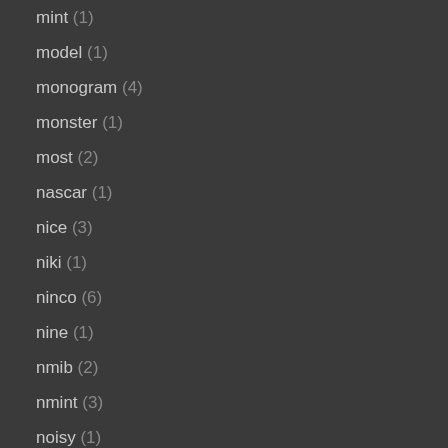mint (1)
model (1)
monogram (4)
monster (1)
most (2)
nascar (1)
nice (3)
niki (1)
ninco (6)
nine (1)
nmib (2)
nmint (3)
noisy (1)
oldsmobile (1)
orig (1)
original (30)
pair (1)